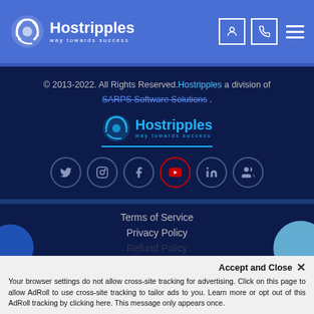[Figure (logo): Hostripples logo with spiral icon and tagline 'way towards success' on blue header bar with user icon, phone icon, and hamburger menu]
© 2013-2022. All Rights Reserved.Hostripples a division of SARPS Software Solutions .
[Figure (logo): Hostripples footer logo with blue spiral icon and tagline 'way towards success']
[Figure (infographic): Social media icons in circles: Twitter, Instagram, Facebook, YouTube (red), LinkedIn, and a group/friends icon]
Terms of Service
Privacy Policy
Refund Policy
Accept and Close ✕
Your browser settings do not allow cross-site tracking for advertising. Click on this page to allow AdRoll to use cross-site tracking to tailor ads to you. Learn more or opt out of this AdRoll tracking by clicking here. This message only appears once.